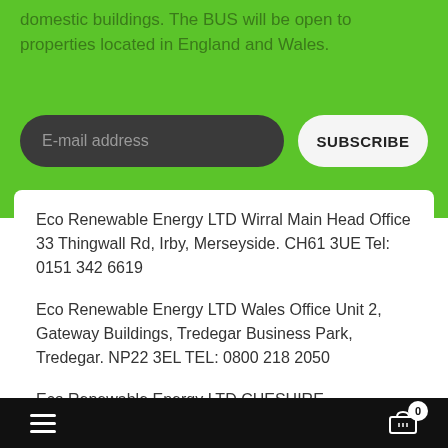domestic buildings. The BUS will be open to properties located in England and Wales.
E-mail address
SUBSCRIBE
Eco Renewable Energy LTD Wirral Main Head Office 33 Thingwall Rd, Irby, Merseyside. CH61 3UE Tel: 0151 342 6619
Eco Renewable Energy LTD Wales Office Unit 2, Gateway Buildings, Tredegar Business Park, Tredegar. NP22 3EL TEL: 0800 218 2050
Eco Renewable Energy LTD CHESHIRE SHOWROOM
Our website use cookies. If you continue to use this site we will assume that you are happy with this. More about cookies: www.aboutcookies.org